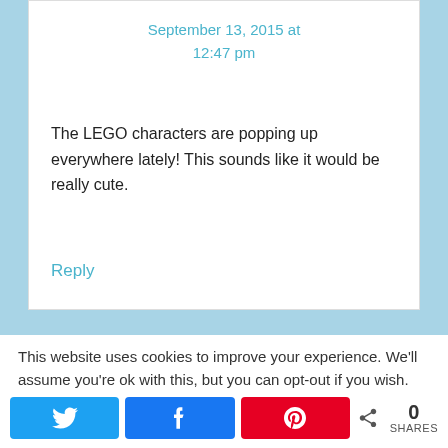September 13, 2015 at 12:47 pm
The LEGO characters are popping up everywhere lately! This sounds like it would be really cute.
Reply
This website uses cookies to improve your experience. We'll assume you're ok with this, but you can opt-out if you wish.
0 SHARES